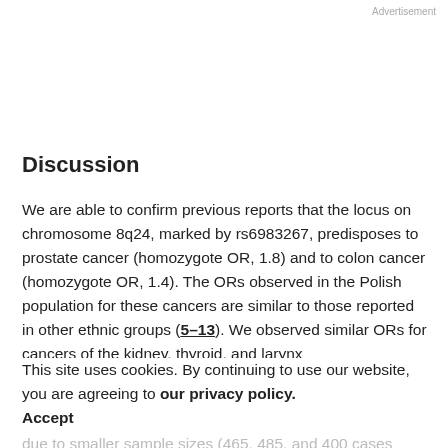Advertisement
Discussion
We are able to confirm previous reports that the locus on chromosome 8q24, marked by rs6983267, predisposes to prostate cancer (homozygote OR, 1.8) and to colon cancer (homozygote OR, 1.4). The ORs observed in the Polish population for these cancers are similar to those reported in other ethnic groups (5–13). We observed similar ORs for cancers of the kidney, thyroid, and larynx
This site uses cookies. By continuing to use our website, you are agreeing to our privacy policy. Accept
these associations, likely marginally significant, possibly due to smaller sample sizes (465, 485, and 400 cases